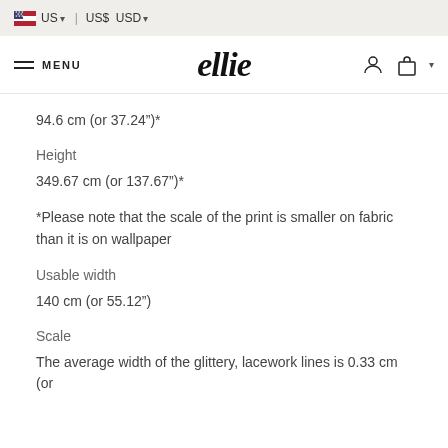US  US$ USD
MENU  ellie
94.6 cm (or 37.24")*
Height
349.67 cm (or 137.67")*
*Please note that the scale of the print is smaller on fabric than it is on wallpaper
Usable width
140 cm (or 55.12")
Scale
The average width of the glittery, lacework lines is 0.33 cm (or